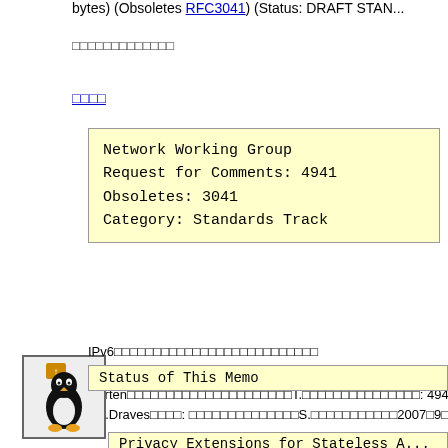bytes) (Obsoletes RFC3041) (Status: DRAFT STAN...
□□□□□□□□□□□□□
□□□□
Network Working Group
Request for Comments: 4941
Obsoletes: 3041
Category: Standards Track
Narten□□□□□□□□□□□□□□□□□□□□□T.□□□□□□□□□□□□□□□: 4941 IBM□ □R.Draves□□□□: □□□□□□□□□□□□□□S.□□□□□□□□□□□2007□9□
Privacy Extensions for Stateless A...
IPv6□□□□□□□□□□□□□□□□□□□□□□□□□□
Status of This Memo
□□□□□□
This document specifies an Interne... Internet community, and requests d...